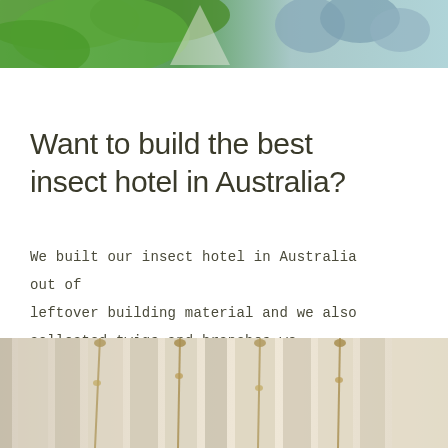[Figure (photo): Partial photo at top of page showing green foliage and light blue sky]
Want to build the best insect hotel in Australia?
We built our insect hotel in Australia out of leftover building material and we also collected twigs and branches we
[Figure (photo): Partial photo at bottom of page showing light-colored wooden or fabric vertical strips with hanging cords or strings, beige and cream tones]